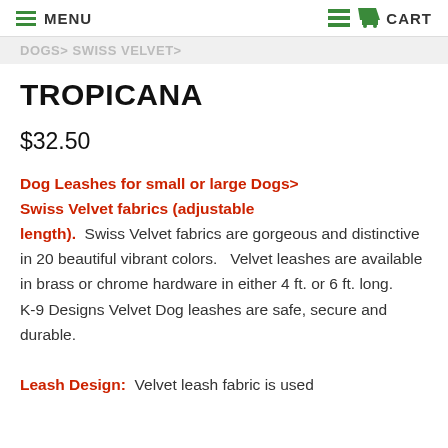MENU | CART
DOGS> SWISS VELVET>
TROPICANA
$32.50
Dog Leashes for small or large Dogs> Swiss Velvet fabrics (adjustable length). Swiss Velvet fabrics are gorgeous and distinctive in 20 beautiful vibrant colors. Velvet leashes are available in brass or chrome hardware in either 4 ft. or 6 ft. long. K-9 Designs Velvet Dog leashes are safe, secure and durable.
Leash Design: Velvet leash fabric is used